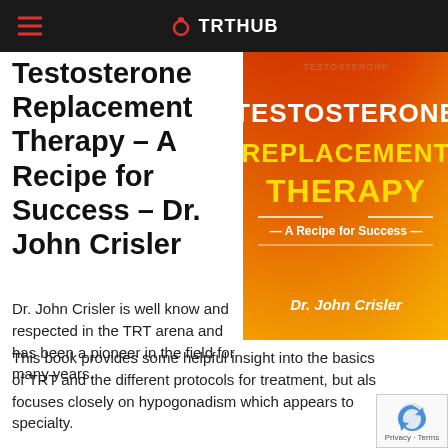TRTHUB
Testosterone Replacement Therapy – A Recipe for Success – Dr. John Crisler
[Figure (photo): Book cover for 'Testosterone Replacement Therapy – A Recipe for Success' by Dr. John Crisler. Bold title text in white and yellow on a red/orange gradient background, with author name at bottom.]
Dr. John Crisler is well know and respected in the TRT arena and has been a pioneer in the field for many years.
This book provides some helpful insight into the basics of TRT and the different protocols for treatment, but also focuses closely on hypogonadism which appears to specialty.